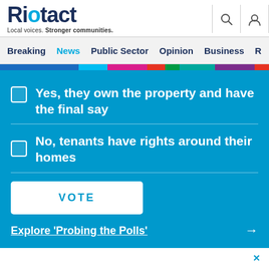Riotact — Local voices. Stronger communities.
Breaking  News  Public Sector  Opinion  Business  R
Yes, they own the property and have the final say
No, tenants have rights around their homes
VOTE
Explore 'Probing the Polls'